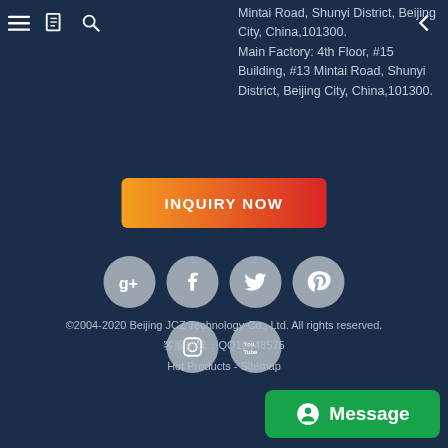[Figure (screenshot): Top navigation bar with hamburger menu, book icon, search icon, and back arrow]
Mintai Road, Shunyi District, Beijing City, China,101300. Main Factory: 4th Floor, #15 Building, #13 Mintai Road, Shunyi District, Beijing City, China,101300.
[Figure (other): INQUIRY NOW button with orange to red gradient]
[Figure (other): Social media icons: Google+, Facebook, Twitter, Pinterest, Instagram, YouTube]
©2004-2020 Beijing JCZ Technology Co., Ltd. All rights reserved.
客服QQ10448575
Hot Products - Sitemap
[Figure (other): Green Message button at bottom right]